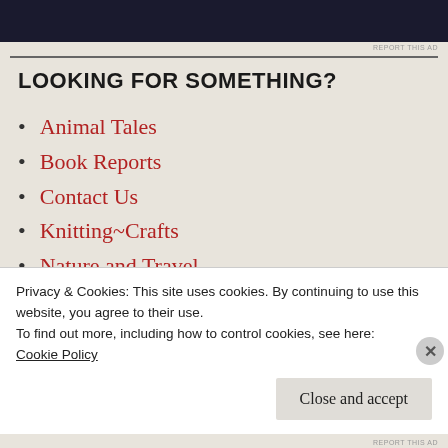[Figure (other): Dark advertisement banner at top of page]
LOOKING FOR SOMETHING?
Animal Tales
Book Reports
Contact Us
Knitting~Crafts
Nature and Travel
Rants and Ramblings
Sightings!
Privacy & Cookies: This site uses cookies. By continuing to use this website, you agree to their use.
To find out more, including how to control cookies, see here: Cookie Policy
Close and accept